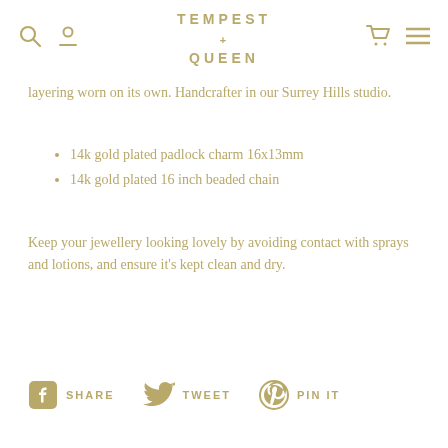TEMPEST + QUEEN
layering worn on its own. Handcrafter in our Surrey Hills studio.
14k gold plated padlock charm 16x13mm
14k gold plated 16 inch beaded chain
Keep your jewellery looking lovely by avoiding contact with sprays and lotions, and ensure it's kept clean and dry.
SHARE  TWEET  PIN IT